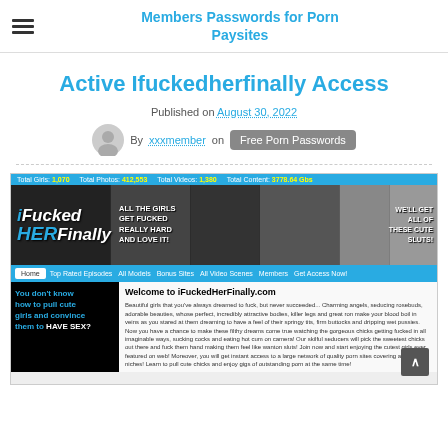Members Passwords for Porn Paysites
Active Ifuckedherfinally Access
Published on August 30, 2022
By xxxmember on Free Porn Passwords
[Figure (screenshot): Screenshot of iFuckedHerFinally.com website showing banner, navigation, and welcome text]